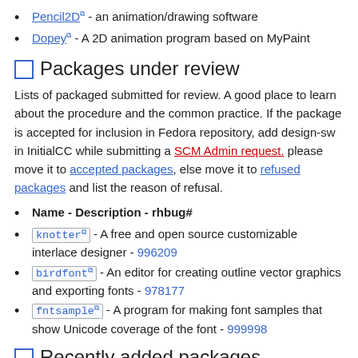Pencil2D - an animation/drawing software
Dopey - A 2D animation program based on MyPaint
Packages under review
Lists of packaged submitted for review. A good place to learn about the procedure and the common practice. If the package is accepted for inclusion in Fedora repository, add design-sw in InitialCC while submitting a SCM Admin request. please move it to accepted packages, else move it to refused packages and list the reason of refusal.
Name - Description - rhbug#
knotter - A free and open source customizable interlace designer - 996209
birdfont - An editor for creating outline vector graphics and exporting fonts - 978177
fntsample - A program for making font samples that show Unicode coverage of the font - 999998
Recently added packages